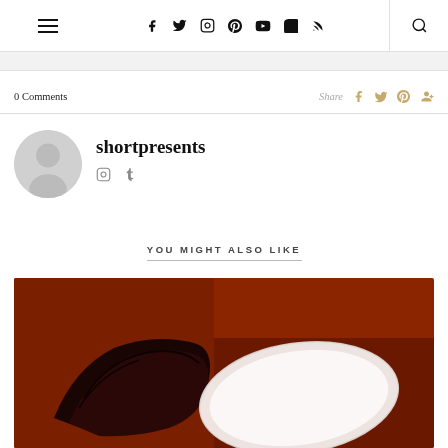Navigation header with hamburger menu, social icons (Facebook, Twitter, Instagram, Pinterest, YouTube, Snapchat, RSS), and search icon
0 Comments  Share
[Figure (photo): Author avatar placeholder circle (grey)]
shortpresents
[Figure (other): Author social icons: Instagram, Tumblr]
YOU MIGHT ALSO LIKE
[Figure (photo): Food photo showing a slice of chocolate cake on a white plate with brownish-red background]